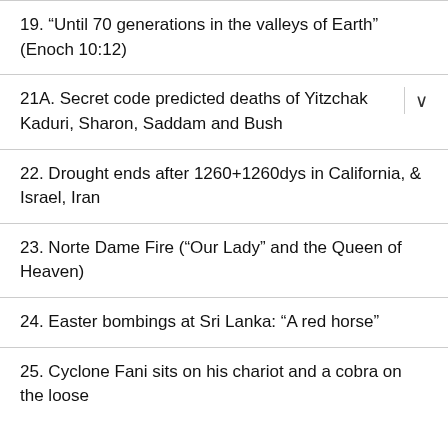19. “Until 70 generations in the valleys of Earth” (Enoch 10:12)
21A. Secret code predicted deaths of Yitzchak Kaduri, Sharon, Saddam and Bush
22. Drought ends after 1260+1260dys in California, & Israel, Iran
23. Norte Dame Fire (“Our Lady” and the Queen of Heaven)
24. Easter bombings at Sri Lanka: “A red horse”
25. Cyclone Fani sits on his chariot and a cobra on the loose